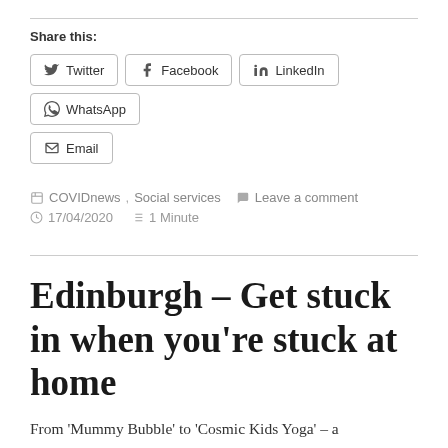Share this:
Twitter  Facebook  LinkedIn  WhatsApp  Email
COVIDnews, Social services   Leave a comment
17/04/2020   1 Minute
Edinburgh – Get stuck in when you're stuck at home
From 'Mummy Bubble' to 'Cosmic Kids Yoga' – a